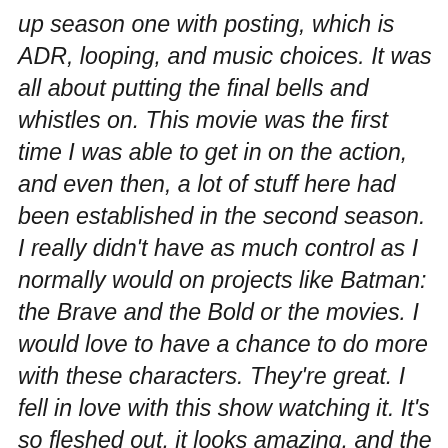up season one with posting, which is ADR, looping, and music choices. It was all about putting the final bells and whistles on. This movie was the first time I was able to get in on the action, and even then, a lot of stuff here had been established in the second season. I really didn't have as much control as I normally would on projects like Batman: the Brave and the Bold or the movies. I would love to have a chance to do more with these characters. They're great. I fell in love with this show watching it. It's so fleshed out, it looks amazing, and the crew is fantastic and full of nice people. You work on projects that are about something positive and uplifting, it tends to rub off on the crew itself. You work with nice people on nice projects often. I really enjoyed it and would sign up for